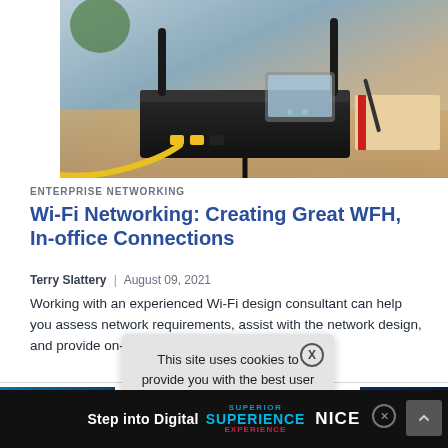[Figure (photo): Photo of a black Wi-Fi router with antennas on a wooden desk with a yellow ethernet cable, notebooks and a tablet in the background]
ENTERPRISE NETWORKING
Wi-Fi Networking: Creating Great WFH, In-office Connections
Terry Slattery | August 09, 2021
Working with an experienced Wi-Fi design consultant can help you assess network requirements, assist with the network design, and provide on-site...
[Figure (photo): Partial thumbnail image on left bottom, blue toned technology photo]
[Figure (photo): Partial thumbnail image on right bottom, dark blue toned technology photo]
This site uses cookies to provide you with the best user experience possible. By
Step into Digital SUPERIENCE NICE